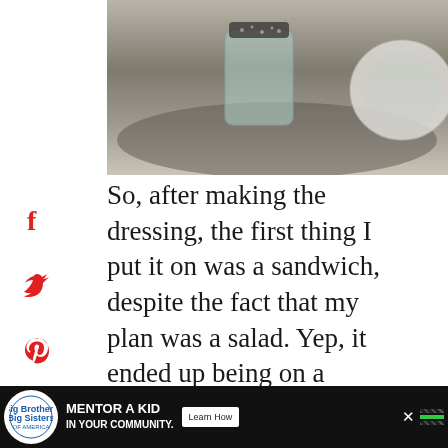[Figure (photo): Food photo showing a glass jar with seeds/spices and a bowl of dressing on a wooden surface]
So, after making the dressing, the first thing I put it on was a sandwich, despite the fact that my plan was a salad. Yep, it ended up being on a sandwich. It was slathered on pastrami and Swiss and it was so
[Figure (infographic): Advertisement banner: Big Brothers Big Sisters - Mentor a Kid in Your Community - Learn How]